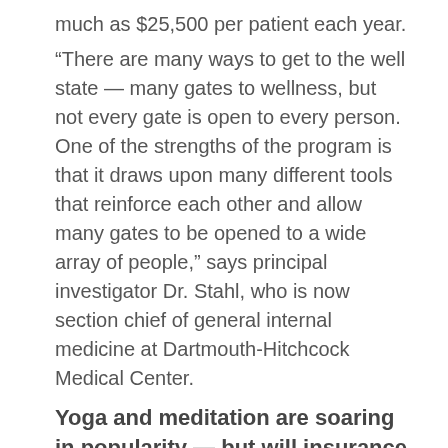much as $25,500 per patient each year.
“There are many ways to get to the well state — many gates to wellness, but not every gate is open to every person. One of the strengths of the program is that it draws upon many different tools that reinforce each other and allow many gates to be opened to a wide array of people,” says principal investigator Dr. Stahl, who is now section chief of general internal medicine at Dartmouth-Hitchcock Medical Center.
Yoga and meditation are soaring in popularity — but will insurance pay?
Yoga and meditation programs are